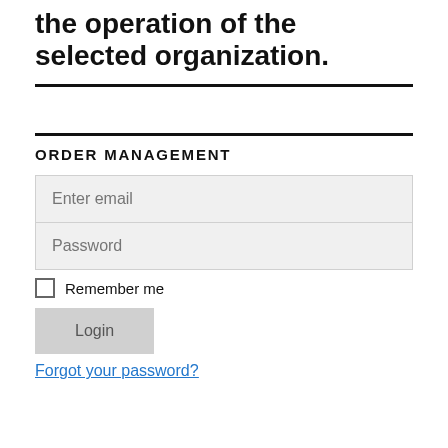the operation of the selected organization.
ORDER MANAGEMENT
Enter email
Password
Remember me
Login
Forgot your password?